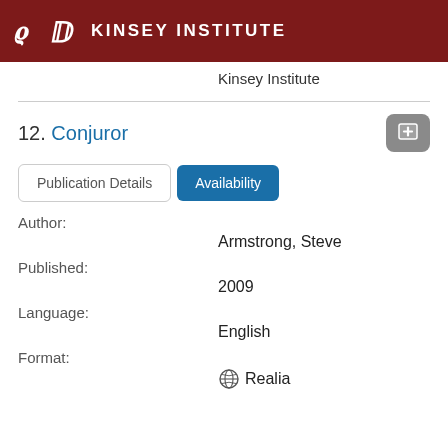KINSEY INSTITUTE
Kinsey Institute
12. Conjuror
Publication Details | Availability
Author:
Armstrong, Steve
Published:
2009
Language:
English
Format:
Realia